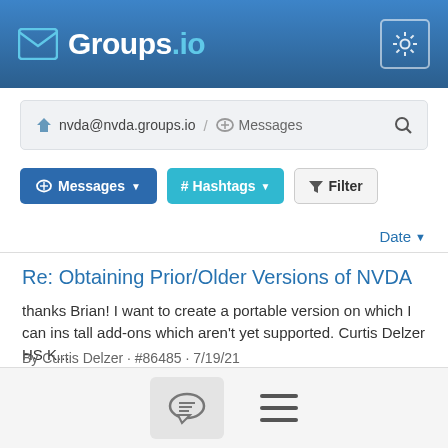Groups.io
nvda@nvda.groups.io / Messages
Messages | # Hashtags | Filter
Date
Re: Obtaining Prior/Older Versions of NVDA
thanks Brian! I want to create a portable version on which I can ins tall add-ons which aren't yet supported. Curtis Delzer HS K...
By Curtis Delzer · #86485 · 7/19/21
Detecting if conditional formatting has been applied in Excel
Hi all, With NVDA, is there a way to detect that conditional